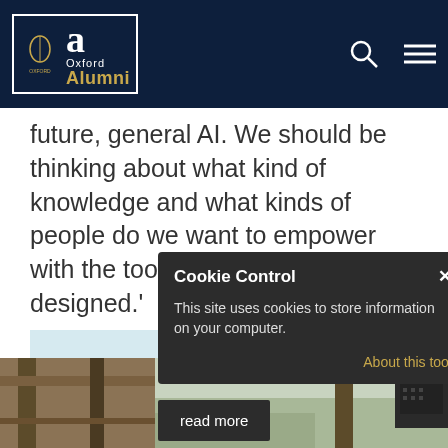University of Oxford | Oxford Alumni
future, general AI. We should be thinking about what kind of knowledge and what kinds of people do we want to empower with the tools that are being designed.'
Oxford Internet Institute
Next from QUAD
[Figure (screenshot): Cookie Control popup overlay on webpage. Header: 'Cookie Control' with X close button. Body: 'This site uses cookies to store information on your computer.' Link: 'About this tool'. Button: 'read more']
[Figure (photo): Outdoor photo strip showing wooden pergola structure and building exterior]